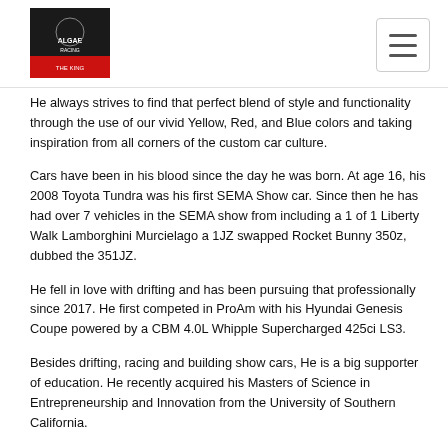[Logo image and hamburger menu]
He always strives to find that perfect blend of style and functionality through the use of our vivid Yellow, Red, and Blue colors and taking inspiration from all corners of the custom car culture.
Cars have been in his blood since the day he was born. At age 16, his 2008 Toyota Tundra was his first SEMA Show car. Since then he has had over 7 vehicles in the SEMA show from including a 1 of 1 Liberty Walk Lamborghini Murcielago a 1JZ swapped Rocket Bunny 350z, dubbed the 351JZ.
He fell in love with drifting and has been pursuing that professionally since 2017. He first competed in ProAm with his Hyundai Genesis Coupe powered by a CBM 4.0L Whipple Supercharged 425ci LS3.
Besides drifting, racing and building show cars, He is a big supporter of education. He recently acquired his Masters of Science in Entrepreneurship and Innovation from the University of Southern California.